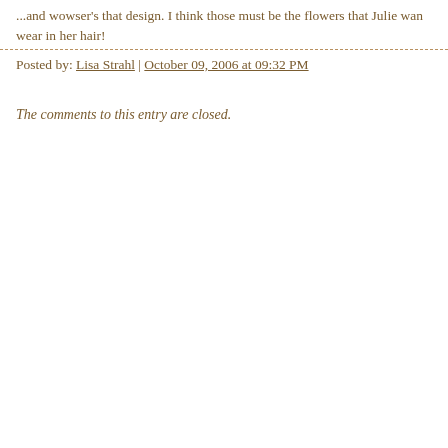...and wowser's that design. I think those must be the flowers that Julie wan wear in her hair!
Posted by: Lisa Strahl | October 09, 2006 at 09:32 PM
The comments to this entry are closed.